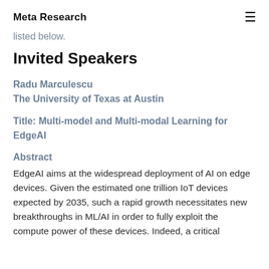Meta Research
listed below.
Invited Speakers
Radu Marculescu
The University of Texas at Austin
Title: Multi-model and Multi-modal Learning for EdgeAI
Abstract
EdgeAI aims at the widespread deployment of AI on edge devices. Given the estimated one trillion IoT devices expected by 2035, such a rapid growth necessitates new breakthroughs in ML/AI in order to fully exploit the compute power of these devices. Indeed, a critical